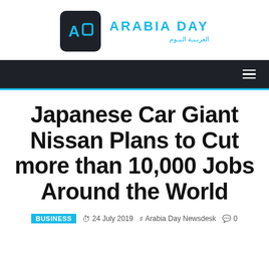ARABIA DAY / العربية اليوم
Japanese Car Giant Nissan Plans to Cut more than 10,000 Jobs Around the World
BUSINESS  24 July 2019  Arabia Day Newsdesk  0